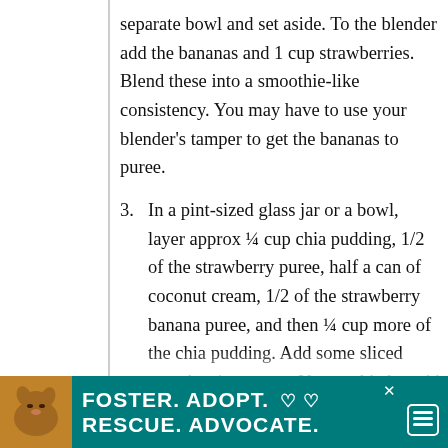separate bowl and set aside. To the blender add the bananas and 1 cup strawberries. Blend these into a smoothie-like consistency. You may have to use your blender’s tamper to get the bananas to puree.
3. In a pint-sized glass jar or a bowl, layer approx ¼ cup chia pudding, 1/2 of the strawberry puree, half a can of coconut cream, 1/2 of the strawberry banana puree, and then ¼ cup more of the chia pudding. Add some sliced strawberries on top. You could also add some Paleo granola, but do this right before serving (healthiest) and
[Figure (other): Advertisement banner: dog photo on left, teal background, text FOSTER. ADOPT. with heart symbols, RESCUE. ADVOCATE. in white bold font. Close button X visible top right of ad.]